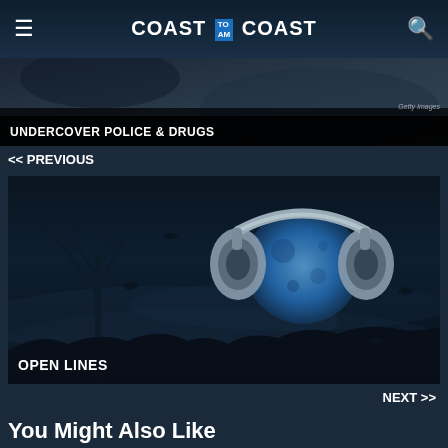COAST TO AM COAST
[Figure (screenshot): Dark image with text overlay reading UNDERCOVER POLICE & DRUGS with Getty Images watermark]
<< PREVIOUS
[Figure (screenshot): Dark night scene with moonlit headphones over blue full moon and bare trees with birds flying; text overlay: OPEN LINES]
NEXT >>
You Might Also Like